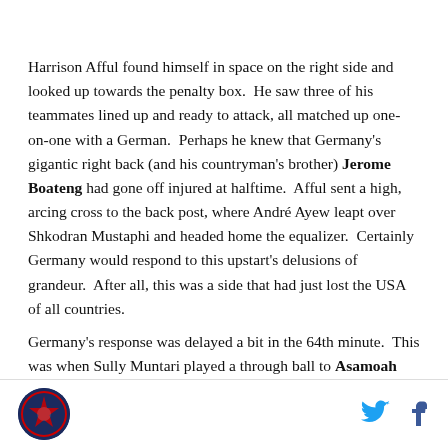minutes.
Harrison Afful found himself in space on the right side and looked up towards the penalty box. He saw three of his teammates lined up and ready to attack, all matched up one-on-one with a German. Perhaps he knew that Germany's gigantic right back (and his countryman's brother) Jerome Boateng had gone off injured at halftime. Afful sent a high, arcing cross to the back post, where André Ayew leapt over Shkodran Mustaphi and headed home the equalizer. Certainly Germany would respond to this upstart's delusions of grandeur. After all, this was a side that had just lost the USA of all countries.
Germany's response was delayed a bit in the 64th minute. This was when Sully Muntari played a through ball to Asamoah Gyan, who easily beat his man and decisively finished with a curling shot past Germany's helpless keeper. All of a sudden
[Figure (logo): Circular logo with dark blue background and red/white star design]
[Figure (other): Twitter bird icon and Facebook f icon for social sharing]